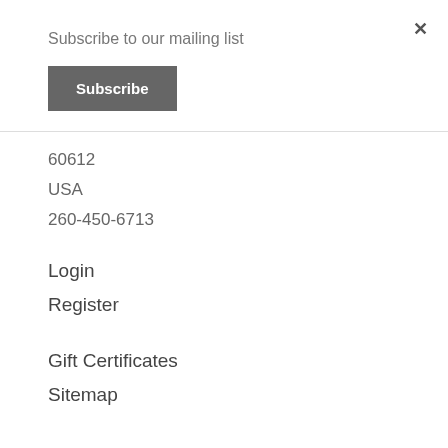×
Subscribe to our mailing list
Subscribe
60612
USA
260-450-6713
Login
Register
Gift Certificates
Sitemap